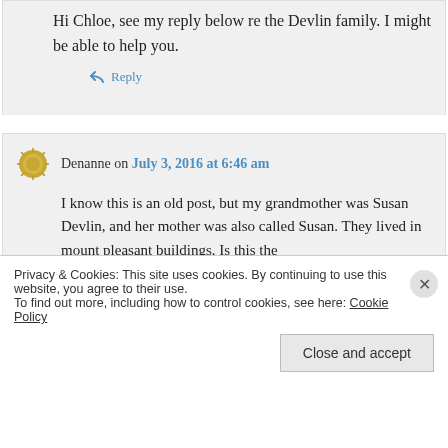Hi Chloe, see my reply below re the Devlin family. I might be able to help you.
↪ Reply
Denanne on July 3, 2016 at 6:46 am
I know this is an old post, but my grandmother was Susan Devlin, and her mother was also called Susan. They lived in mount pleasant buildings. Is this the
Privacy & Cookies: This site uses cookies. By continuing to use this website, you agree to their use.
To find out more, including how to control cookies, see here: Cookie Policy
Close and accept